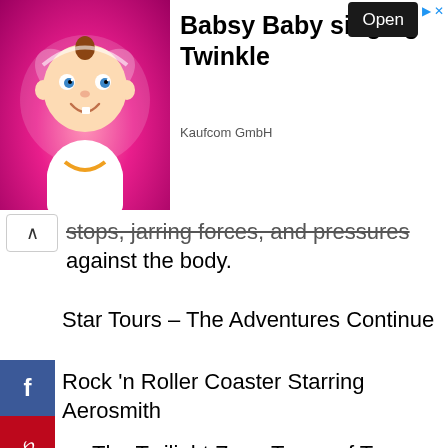[Figure (screenshot): Advertisement banner for 'Babsy Baby singing Twinkle' by Kaufcom GmbH with a cartoon baby image on a pink background and an Open button]
stops, jarring forces, and pressures against the body.
Star Tours – The Adventures Continue
Rock 'n Roller Coaster Starring Aerosmith
The Twilight Zone Tower of Terror
Millennium Falcon: Smugglers Run
Star Wars: Rise of the Resistance
Slinky Dog Dash